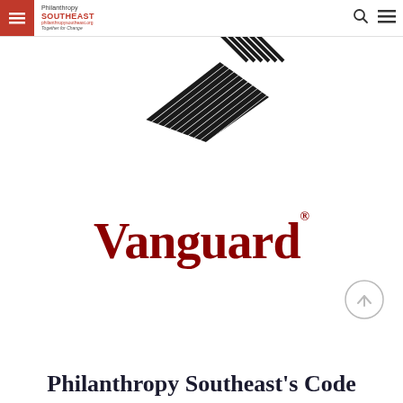[Figure (logo): Navigation bar with red hamburger menu button on the left, Philanthropy Southeast logo in the nav bar, search icon and hamburger menu icon on the right]
[Figure (logo): Philanthropy Southeast large decorative arrow/chevron logo overlapping the nav bar area]
[Figure (logo): Vanguard wordmark logo in dark red serif font with trademark symbol]
[Figure (other): Circular scroll-to-top button with upward arrow]
Philanthropy Southeast's Code